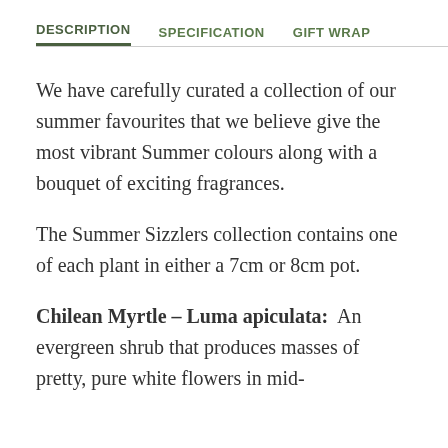DESCRIPTION   SPECIFICATION   GIFT WRAP
We have carefully curated a collection of our summer favourites that we believe give the most vibrant Summer colours along with a bouquet of exciting fragrances.
The Summer Sizzlers collection contains one of each plant in either a 7cm or 8cm pot.
Chilean Myrtle – Luma apiculata:  An evergreen shrub that produces masses of pretty, pure white flowers in mid-